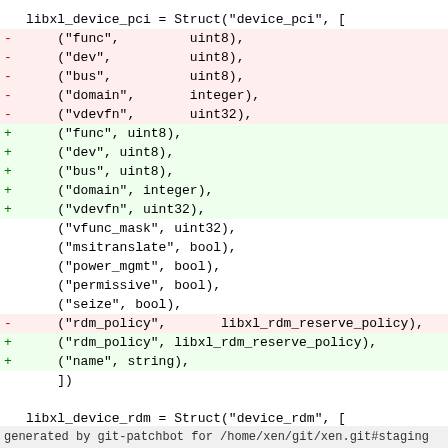libxl_device_pci = Struct("device_pci", [
-    ("func",         uint8),
-    ("dev",          uint8),
-    ("bus",          uint8),
-    ("domain",       integer),
-    ("vdevfn",       uint32),
+    ("func", uint8),
+    ("dev", uint8),
+    ("bus", uint8),
+    ("domain", integer),
+    ("vdevfn", uint32),
     ("vfunc_mask", uint32),
     ("msitranslate", bool),
     ("power_mgmt", bool),
     ("permissive", bool),
     ("seize", bool),
-    ("rdm_policy",       libxl_rdm_reserve_policy),
+    ("rdm_policy", libxl_rdm_reserve_policy),
+    ("name", string),
     ])

libxl_device_rdm = Struct("device_rdm", [
--
generated by git-patchbot for /home/xen/git/xen.git#staging